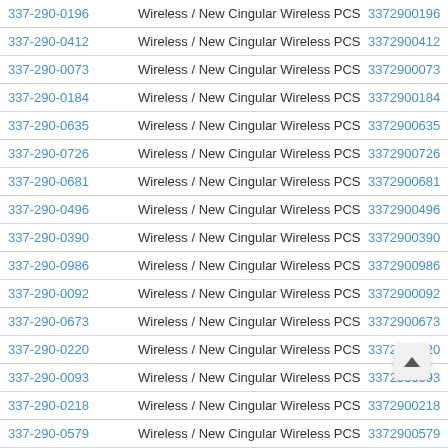| Phone | Carrier | Number |
| --- | --- | --- |
| 337-290-0196 | Wireless / New Cingular Wireless PCS - GA | 3372900196 |
| 337-290-0412 | Wireless / New Cingular Wireless PCS - GA | 3372900412 |
| 337-290-0073 | Wireless / New Cingular Wireless PCS - GA | 3372900073 |
| 337-290-0184 | Wireless / New Cingular Wireless PCS - GA | 3372900184 |
| 337-290-0635 | Wireless / New Cingular Wireless PCS - GA | 3372900635 |
| 337-290-0726 | Wireless / New Cingular Wireless PCS - GA | 3372900726 |
| 337-290-0681 | Wireless / New Cingular Wireless PCS - GA | 3372900681 |
| 337-290-0496 | Wireless / New Cingular Wireless PCS - GA | 3372900496 |
| 337-290-0390 | Wireless / New Cingular Wireless PCS - GA | 3372900390 |
| 337-290-0986 | Wireless / New Cingular Wireless PCS - GA | 3372900986 |
| 337-290-0092 | Wireless / New Cingular Wireless PCS - GA | 3372900092 |
| 337-290-0673 | Wireless / New Cingular Wireless PCS - GA | 3372900673 |
| 337-290-0220 | Wireless / New Cingular Wireless PCS - GA | 3372900220 |
| 337-290-0093 | Wireless / New Cingular Wireless PCS - GA | 3372900093 |
| 337-290-0218 | Wireless / New Cingular Wireless PCS - GA | 3372900218 |
| 337-290-0579 | Wireless / New Cingular Wireless PCS - GA | 3372900579 |
| 337-290-0905 | Wireless / New Cingular Wireless PCS - GA | 3372900905 |
| 337-290-0404 | Wireless / New Cingular Wireless PCS - GA | 3372900404 |
| 337-290-0196 | Wireless / New Cingular Wireless PCS - GA | 3372900196 |